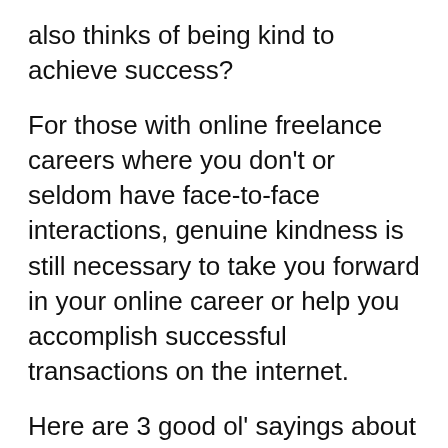also thinks of being kind to achieve success?
For those with online freelance careers where you don’t or seldom have face-to-face interactions, genuine kindness is still necessary to take you forward in your online career or help you accomplish successful transactions on the internet.
Here are 3 good ol’ sayings about kindness and how these can translate into action:
1. “Kindness goes a long way.”
Showing kindness by taking some time to help can cause a big impact to a person,